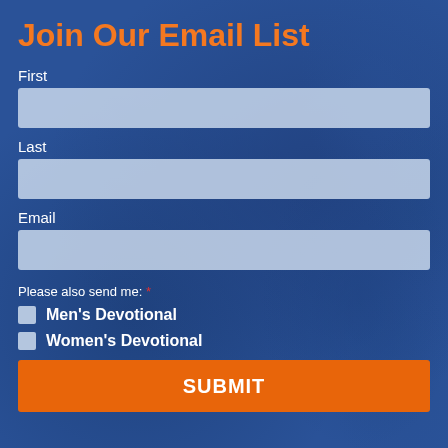Join Our Email List
First
Last
Email
Please also send me: *
Men's Devotional
Women's Devotional
SUBMIT